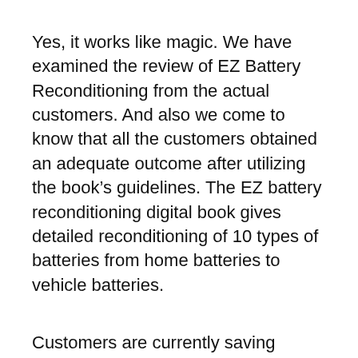Yes, it works like magic. We have examined the review of EZ Battery Reconditioning from the actual customers. And also we come to know that all the customers obtained an adequate outcome after utilizing the book’s guidelines. The EZ battery reconditioning digital book gives detailed reconditioning of 10 types of batteries from home batteries to vehicle batteries.
Customers are currently saving numerous bucks yearly as they don’t require to buy new batteries anytime soon. The only thing they have to get is a tool required to refurbish the battery.